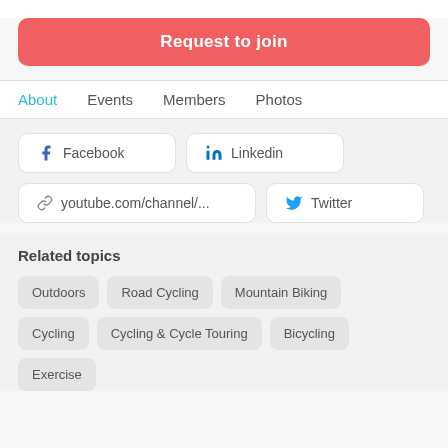Request to join
About  Events  Members  Photos
Facebook  Linkedin  youtube.com/channel/...  Twitter
Related topics
Outdoors
Road Cycling
Mountain Biking
Cycling
Cycling & Cycle Touring
Bicycling
Exercise